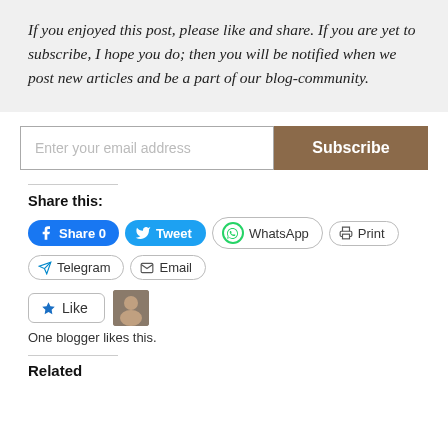If you enjoyed this post, please like and share. If you are yet to subscribe, I hope you do; then you will be notified when we post new articles and be a part of our blog-community.
Enter your email address  Subscribe
Share this:
Share 0  Tweet  WhatsApp  Print  Telegram  Email
Like  One blogger likes this.
Related